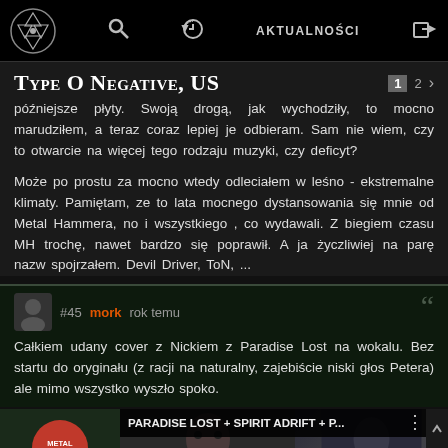AKTUALNOŚCI
Type O Negative, US
późniejsze płyty. Swoją drogą, jak wychodziły, to mocno marudziłem, a teraz coraz lepiej je odbieram. Sam nie wiem, czy to otwarcie na więcej tego rodzaju muzyki, czy deficyt?
Może po prostu za mocno wtedy odleciałem w leśno - ekstremalne klimaty. Pamiętam, ze to lata mocnego dystansowania się mnie od Metal Hammera, no i wszystkiego , co wydawali. Z biegiem czasu MH trochę, nawet bardzo się poprawił. A ja życzliwiej na parę nazw spojrzałem. Devil Driver, ToN, ...
#45 mork rok temu
Całkiem udany cover z Nickiem z Paradise Lost na wokalu. Bez startu do oryginału (z racji na naturalny, zajebiście niski głos Petera) ale mimo wszystko wyszło spoko.
[Figure (screenshot): Video thumbnail showing Metal Injection logo and title 'PARADISE LOST + SPIRIT ADRIFT + P...' with a person's face visible in the background]